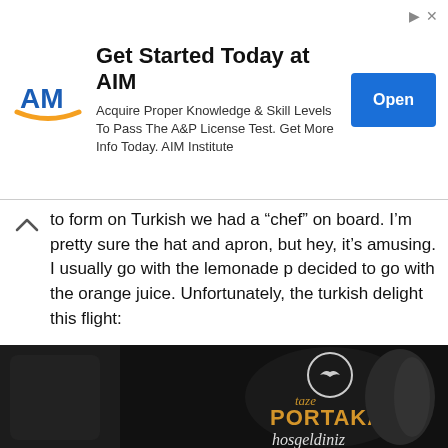[Figure (other): AIM Institute advertisement banner with logo, text 'Get Started Today at AIM', subtext about A&P License Test, and an Open button]
to form on Turkish we had a “chef” on board. I’m pretty sure the hat and apron, but hey, it’s amusing. I usually go with the lemonade p decided to go with the orange juice. Unfortunately, the turkish delight this flight:
[Figure (photo): Close-up photo of a dark teardrop-shaped Turkish Airlines orange juice bottle/tag with Turkish Airlines logo, text 'taze PORTAKAL hosgeldiniz' in gold and white lettering]